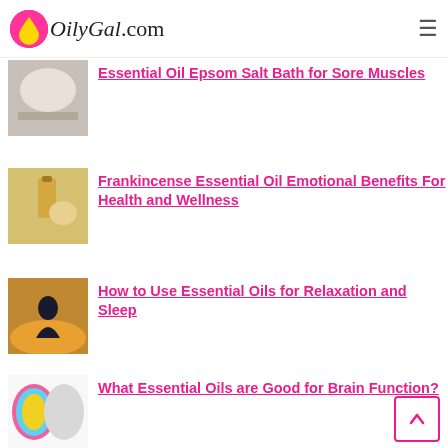OilyGal.com
Essential Oil Epsom Salt Bath for Sore Muscles
Frankincense Essential Oil Emotional Benefits For Health and Wellness
How to Use Essential Oils for Relaxation and Sleep
What Essential Oils are Good for Brain Function?